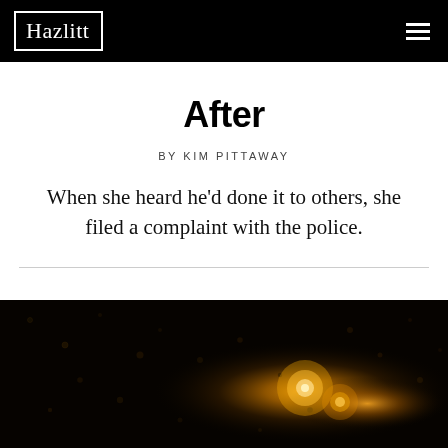Hazlitt
After
BY KIM PITTAWAY
When she heard he'd done it to others, she filed a complaint with the police.
[Figure (photo): Night photo of rain droplets on a car window with warm bokeh lights (orange/amber streetlights) visible in the background, dark atmospheric image.]